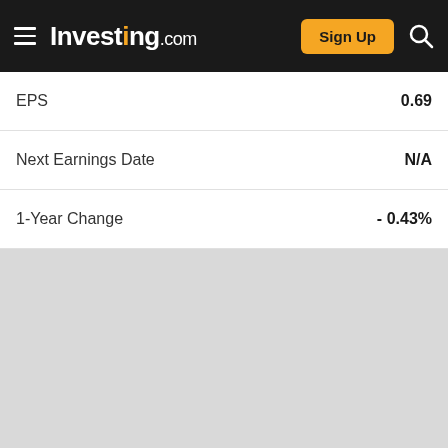Investing.com
| Label | Value |
| --- | --- |
| EPS | 0.69 |
| Next Earnings Date | N/A |
| 1-Year Change | - 0.43% |